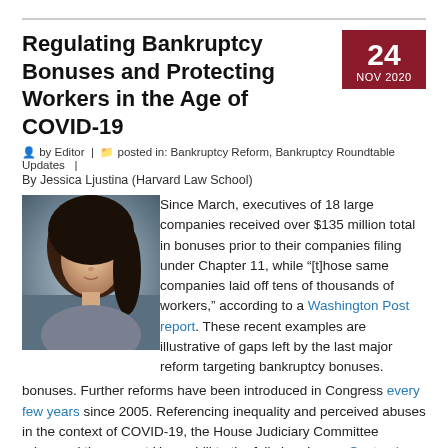Regulating Bankruptcy Bonuses and Protecting Workers in the Age of COVID-19
by Editor | posted in: Bankruptcy Reform, Bankruptcy Roundtable Updates | By Jessica Ljustina (Harvard Law School)
[Figure (photo): Headshot portrait of Jessica Ljustina]
Since March, executives of 18 large companies received over $135 million total in bonuses prior to their companies filing under Chapter 11, while “[t]hose same companies laid off tens of thousands of workers,” according to a Washington Post report. These recent examples are illustrative of gaps left by the last major reform targeting bankruptcy bonuses. Further reforms have been introduced in Congress every few years since 2005. Referencing inequality and perceived abuses in the context of COVID-19, the House Judiciary Committee advanced the current House bill to the full chamber on September 29, 2020, marking the proposed legislation’s furthest progress thus far.